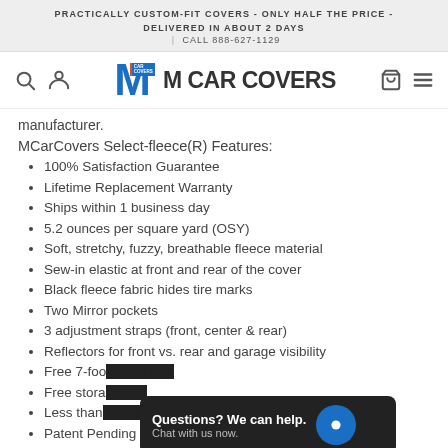PRACTICALLY CUSTOM-FIT COVERS - ONLY HALF THE PRICE - DELIVERED IN ABOUT 2 DAYS | CALL 888-627-1129
[Figure (logo): M Car Covers logo with search, account, cart, and menu icons in navigation bar]
manufacturer.
MCarCovers Select-fleece(R) Features:
100% Satisfaction Guarantee
Lifetime Replacement Warranty
Ships within 1 business day
5.2 ounces per square yard (OSY)
Soft, stretchy, fuzzy, breathable fleece material
Sew-in elastic at front and rear of the cover
Black fleece fabric hides tire marks
Two Mirror pockets
3 adjustment straps (front, center & rear)
Reflectors for front vs. rear and garage visibility
Free 7-foo[t cable lock]
Free stora[ge bag]
Less than [half the price of custo]m fit covers
Patent Pending Design